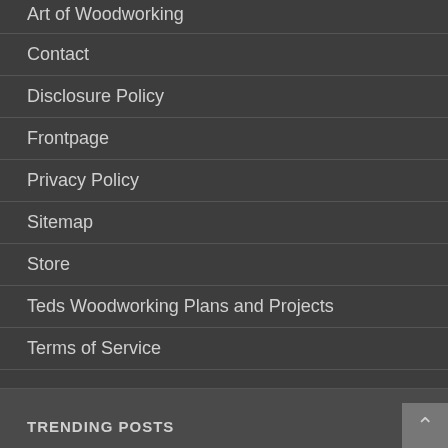Art of Woodworking
Contact
Disclosure Policy
Frontpage
Privacy Policy
Sitemap
Store
Teds Woodworking Plans and Projects
Terms of Service
TRENDING POSTS
The Most Common Woodworking Joints